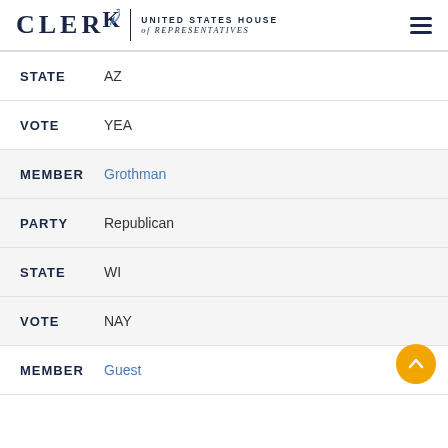CLERK UNITED STATES HOUSE of REPRESENTATIVES
STATE  AZ
VOTE  YEA
MEMBER  Grothman
PARTY  Republican
STATE  WI
VOTE  NAY
MEMBER  Guest